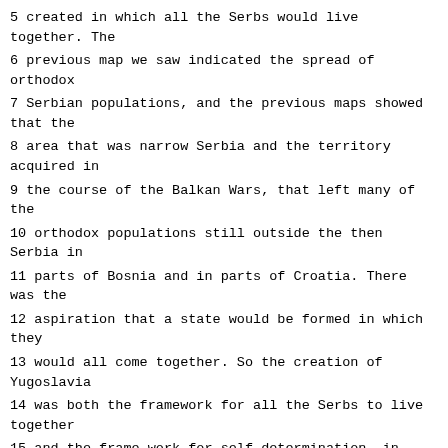5 created in which all the Serbs would live together. The
6 previous map we saw indicated the spread of orthodox
7 Serbian populations, and the previous maps showed that the
8 area that was narrow Serbia and the territory acquired in
9 the course of the Balkan Wars, that left many of the
10 orthodox populations still outside the then Serbia in
11 parts of Bosnia and in parts of Croatia. There was the
12 aspiration that a state would be formed in which they
13 would all come together. So the creation of Yugoslavia
14 was both the framework for all the Serbs to live together
15 and the frame-work for self-determination, in theory, of